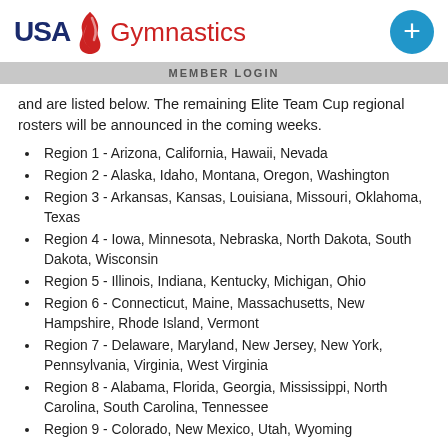USA Gymnastics | MEMBER LOGIN
and are listed below. The remaining Elite Team Cup regional rosters will be announced in the coming weeks.
Region 1 - Arizona, California, Hawaii, Nevada
Region 2 - Alaska, Idaho, Montana, Oregon, Washington
Region 3 - Arkansas, Kansas, Louisiana, Missouri, Oklahoma, Texas
Region 4 - Iowa, Minnesota, Nebraska, North Dakota, South Dakota, Wisconsin
Region 5 - Illinois, Indiana, Kentucky, Michigan, Ohio
Region 6 - Connecticut, Maine, Massachusetts, New Hampshire, Rhode Island, Vermont
Region 7 - Delaware, Maryland, New Jersey, New York, Pennsylvania, Virginia, West Virginia
Region 8 - Alabama, Florida, Georgia, Mississippi, North Carolina, South Carolina, Tennessee
Region 9 - Colorado, New Mexico, Utah, Wyoming